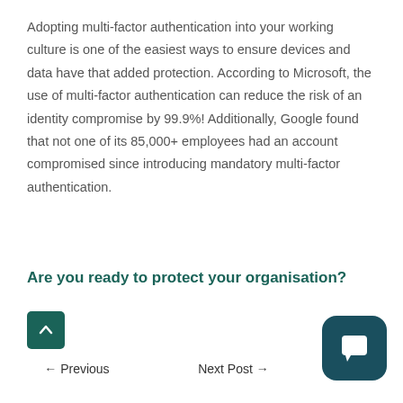Adopting multi-factor authentication into your working culture is one of the easiest ways to ensure devices and data have that added protection. According to Microsoft, the use of multi-factor authentication can reduce the risk of an identity compromise by 99.9%! Additionally, Google found that not one of its 85,000+ employees had an account compromised since introducing mandatory multi-factor authentication.
Are you ready to protect your organisation?
← Previous    Next Post →